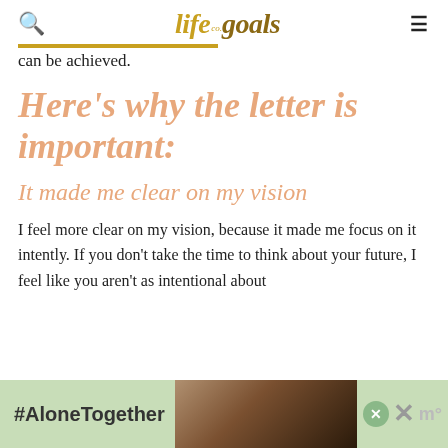life co. goals
can be achieved.
Here's why the letter is important:
It made me clear on my vision
I feel more clear on my vision, because it made me focus on it intently. If you don't take the time to think about your future, I feel like you aren't as intentional about
[Figure (infographic): #AloneTogether ad banner with photo of man and child]